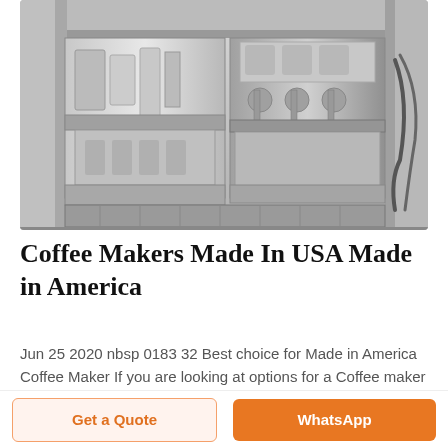[Figure (photo): Industrial coffee/beverage manufacturing equipment - large stainless steel filling/bottling machine in a factory setting, black and white/desaturated photo]
Coffee Makers Made In USA Made in America
Jun 25 2020 nbsp 0183 32 Best choice for Made in America Coffee Maker If you are looking at options for a Coffee maker that is American made your best choice at this time is BUNN 1 Bunn Speed Brew Drip Coffee Maker Assembled in Creston
Get a Quote   WhatsApp